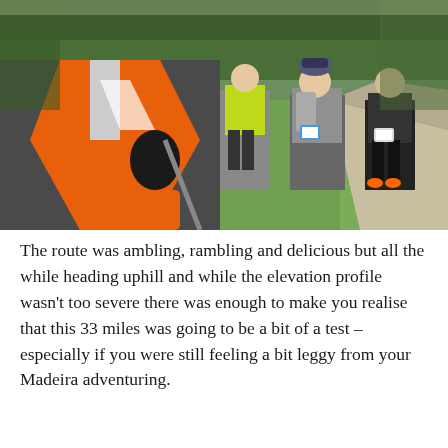[Figure (photo): Trail runners hiking uphill on a grassy path. In the foreground is the back/shoulder of a runner wearing an orange and grey vest with a hydration pack. In the background, several other runners are hiking up a steep grassy hill flanked by trees and bushes.]
The route was ambling, rambling and delicious but all the while heading uphill and while the elevation profile wasn't too severe there was enough to make you realise that this 33 miles was going to be a bit of a test – especially if you were still feeling a bit leggy from your Madeira adventuring.